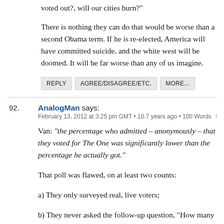voted out?, will our cities burn?"
There is nothing they can do that would be worse than a second Obama term. If he is re-elected, America will have committed suicide, and the white west will be doomed. It will be far worse than any of us imagine.
REPLY   AGREE/DISAGREE/ETC.   MORE...
92. AnalogMan says:
February 13, 2012 at 3:25 pm GMT • 10.7 years ago • 100 Words ↑
Van: "the percentage who admitted – anonymously – that they voted for The One was significantly lower than the percentage he actually got."
That poll was flawed, on at least two counts:
a) They only surveyed real, live voters;
b) They never asked the follow-up question, "How many